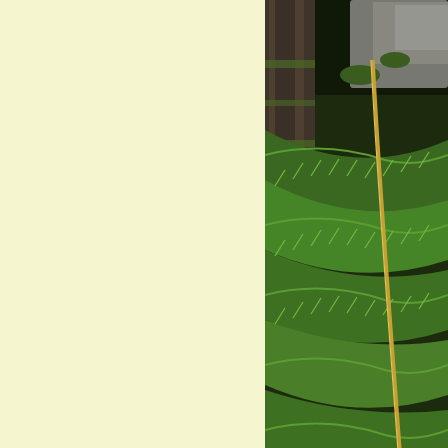[Figure (photo): A dense green fern forest scene with large fern fronds covering the ground and rocky background with moss and a fallen log visible]
Gregor found
On this one-off Geocache evening we only had to collect a token, se
Normally with geocaching you are allowed to take a prize or trink term caches are self perpetu